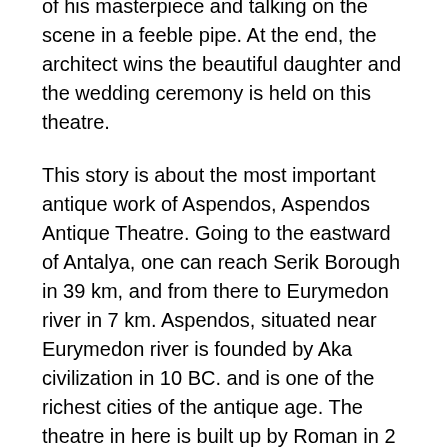of his masterpiece and talking on the scene in a feeble pipe. At the end, the architect wins the beautiful daughter and the wedding ceremony is held on this theatre.
This story is about the most important antique work of Aspendos, Aspendos Antique Theatre. Going to the eastward of Antalya, one can reach Serik Borough in 39 km, and from there to Eurymedon river in 7 km. Aspendos, situated near Eurymedon river is founded by Aka civilization in 10 BC. and is one of the richest cities of the antique age. The theatre in here is built up by Roman in 2 AC. The city is founded upon two hills one is small and one is huge.
The amphitheatre in Aspendos, that is wanted to be conquered by many for ages since being connected to